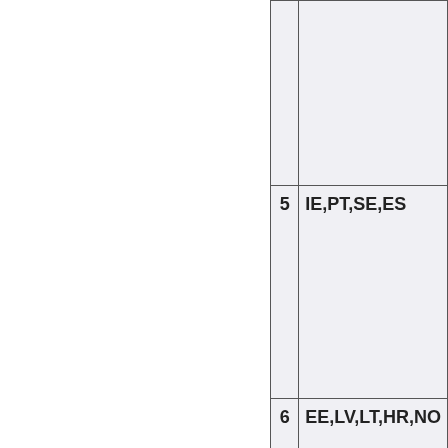| # | Countries |
| --- | --- |
|  |  |
| 5 | IE,PT,SE,ES |
| 6 | EE,LV,LT,HR,NO… |